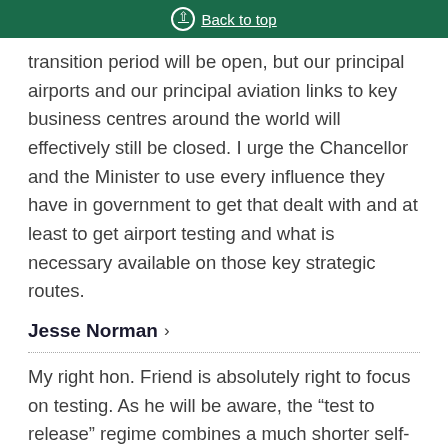Back to top
transition period will be open, but our principal airports and our principal aviation links to key business centres around the world will effectively still be closed. I urge the Chancellor and the Minister to use every influence they have in government to get that dealt with and at least to get airport testing and what is necessary available on those key strategic routes.
Jesse Norman
My right hon. Friend is absolutely right to focus on testing. As he will be aware, the “test to release” regime combines a much shorter self-isolation period with a real focus on public health. As he will